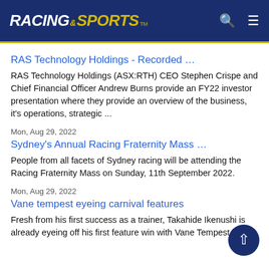RACING AND SPORTS
RAS Technology Holdings - Recorded …
RAS Technology Holdings (ASX:RTH) CEO Stephen Crispe and Chief Financial Officer Andrew Burns provide an FY22 investor presentation where they provide an overview of the business, it's operations, strategic ...
Mon, Aug 29, 2022
Sydney's Annual Racing Fraternity Mass …
People from all facets of Sydney racing will be attending the Racing Fraternity Mass on Sunday, 11th September 2022.
Mon, Aug 29, 2022
Vane tempest eyeing carnival features
Fresh from his first success as a trainer, Takahide Ikenushi is already eyeing off his first feature win with Vane Tempest.